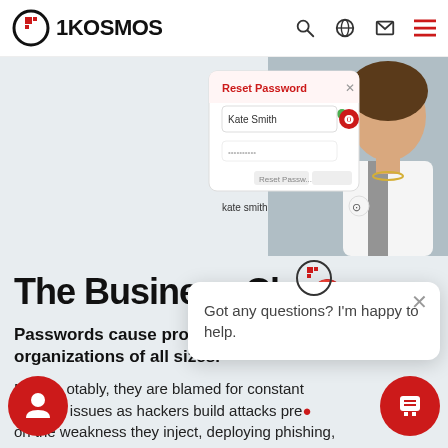1KOSMOS
[Figure (screenshot): UI mockup showing a 'Reset Password' dialog with Kate Smith user entry, overlaid on a photo of a woman in a white blazer]
The Business Cha'llenge
Passwords cause problems for organizations of all sizes.
Most notably, they are blamed for constant security issues as hackers build attacks preying on the weakness they inject, deploying phishing,
[Figure (screenshot): Chat popup widget with 1Kosmos logo and text: Got any questions? I'm happy to help.]